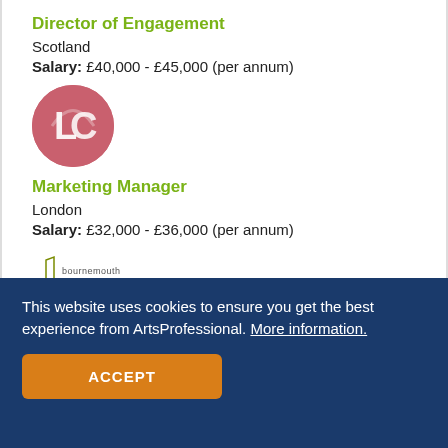Director of Engagement
Scotland
Salary: £40,000 - £45,000 (per annum)
[Figure (logo): LC logo - circular red/pink logo with stylised 'LC' letters in white]
Marketing Manager
London
Salary: £32,000 - £36,000 (per annum)
[Figure (logo): Bournemouth Symphony Orchestra logo - small text logo with musical note symbol]
Senior Development Officer
This website uses cookies to ensure you get the best experience from ArtsProfessional. More information.
ACCEPT